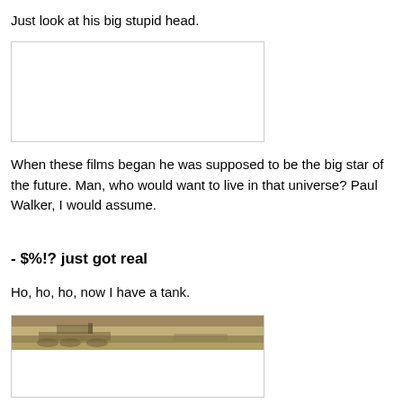Just look at his big stupid head.
[Figure (photo): A blank/white image placeholder]
When these films began he was supposed to be the big star of the future. Man, who would want to live in that universe? Paul Walker, I would assume.
- $%!? just got real
Ho, ho, ho, now I have a tank.
[Figure (photo): A photo of a military tank in a dusty/desert environment]